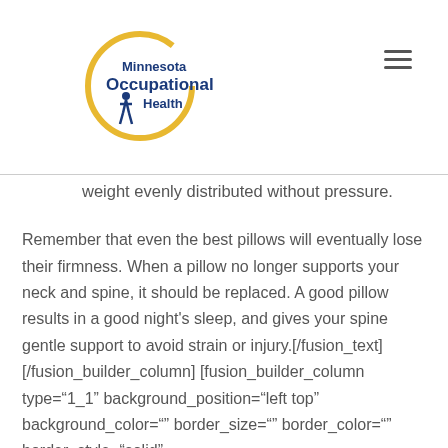Minnesota Occupational Health
weight evenly distributed without pressure.
Remember that even the best pillows will eventually lose their firmness. When a pillow no longer supports your neck and spine, it should be replaced. A good pillow results in a good night's sleep, and gives your spine gentle support to avoid strain or injury.[/fusion_text][/fusion_builder_column][fusion_builder_column type="1_1" background_position="left top" background_color="" border_size="" border_color="" border_style="solid"